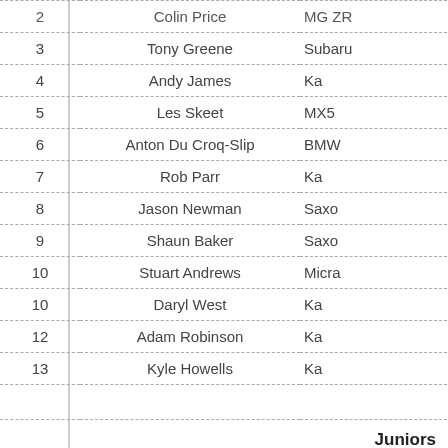| # | Name | Car |
| --- | --- | --- |
| 2 | Colin Price | MG ZR |
| 3 | Tony Greene | Subaru |
| 4 | Andy James | Ka |
| 5 | Les Skeet | MX5 |
| 6 | Anton Du Croq-Slip | BMW |
| 7 | Rob Parr | Ka |
| 8 | Jason Newman | Saxo |
| 9 | Shaun Baker | Saxo |
| 10 | Stuart Andrews | Micra |
| 10 | Daryl West | Ka |
| 12 | Adam Robinson | Ka |
| 13 | Kyle Howells | Ka |
Juniors